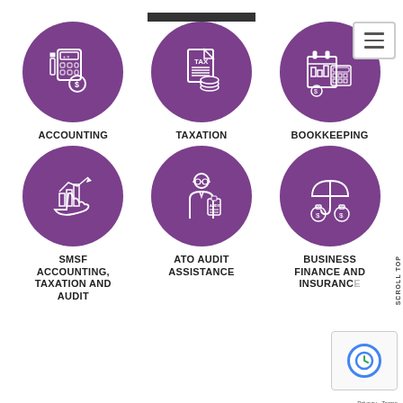[Figure (infographic): Six purple circular icons arranged in a 3x2 grid representing financial services: Accounting (calculator and dollar sign), Taxation (tax document), Bookkeeping (calendar ledger and calculator), SMSF Accounting Taxation and Audit (bar chart with hand), ATO Audit Assistance (auditor with clipboard), Business Finance and Insurance (umbrella with money bags)]
ACCOUNTING
TAXATION
BOOKKEEPING
SMSF ACCOUNTING, TAXATION AND AUDIT
ATO AUDIT ASSISTANCE
BUSINESS FINANCE AND INSURANCE